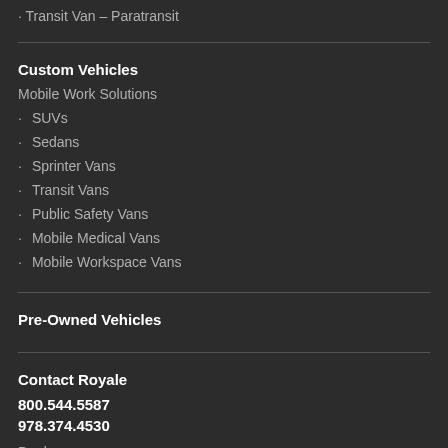Transit Van – Paratransit
Custom Vehicles
Mobile Work Solutions
SUVs
Sedans
Sprinter Vans
Transit Vans
Public Safety Vans
Mobile Medical Vans
Mobile Workspace Vans
Pre-Owned Vehicles
Contact Royale
800.544.5587
978.374.4530
Dealers
Service Centers
Downloads & Warranties